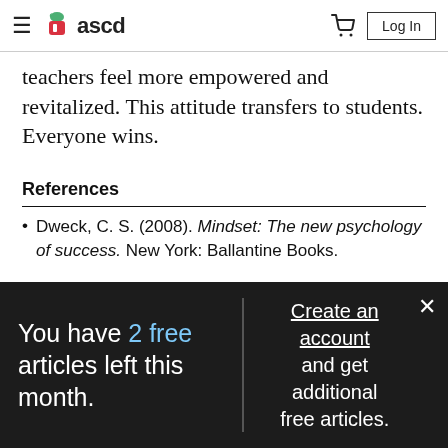ascd — navigation header with hamburger menu, logo, cart, and Log In button
teachers feel more empowered and revitalized. This attitude transfers to students. Everyone wins.
References
Dweck, C. S. (2008). Mindset: The new psychology of success. New York: Ballantine Books.
You have 2 free articles left this month. Create an account and get additional free articles.